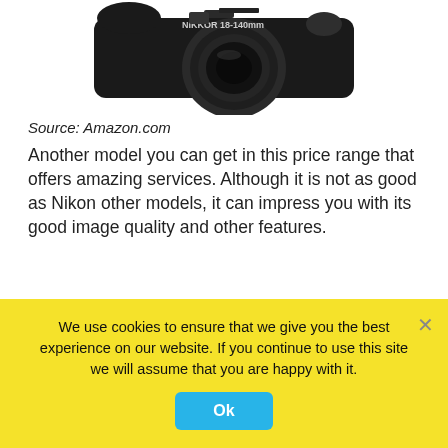[Figure (photo): Partial top view of a Nikon mirrorless camera with 18-140mm lens, showing the top portion/body against a white background]
Source: Amazon.com
Another model you can get in this price range that offers amazing services. Although it is not as good as Nikon other models, it can impress you with its good image quality and other features.
It has 24.2 megapixels and DX-format CMOS sensor with no optical low – pass filter. Also, which is very impressive for this price camera, it has a 3.2 – inch touch screen display and has full HD video recording as an option. Wait, there is more. It has a 39 – point AF system and it
We use cookies to ensure that we give you the best experience on our website. If you continue to use this site we will assume that you are happy with it.